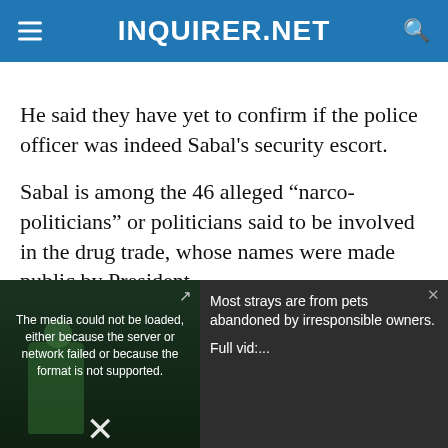INQUIRER.NET
He said they have yet to confirm if the police officer was indeed Sabal’s security escort.
Sabal is among the 46 alleged “narco-politicians” or politicians said to be involved in the drug trade, whose names were made public by President
[Figure (screenshot): Embedded video player overlay showing a media error message: 'The media could not be loaded, either because the server or network failed or because the format is not supported.' Alongside is a side panel with text: 'Most strays are from pets abandoned by irresponsible owners. Full vid:...' with a close button and expand icon. An X dismiss button appears at the bottom center.]